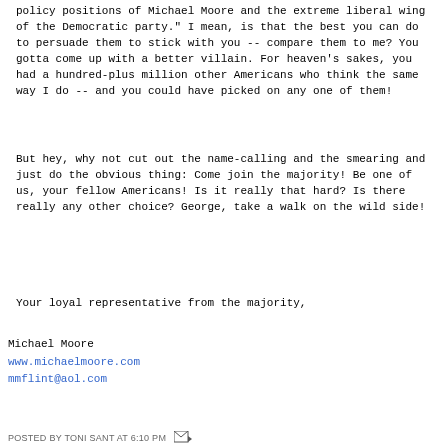policy positions of Michael Moore and the extreme liberal wing of the Democratic party." I mean, is that the best you can do to persuade them to stick with you -- compare them to me? You gotta come up with a better villain. For heaven's sakes, you had a hundred-plus million other Americans who think the same way I do -- and you could have picked on any one of them!
But hey, why not cut out the name-calling and the smearing and just do the obvious thing: Come join the majority! Be one of us, your fellow Americans! Is it really that hard? Is there really any other choice? George, take a walk on the wild side!
Your loyal representative from the majority,
Michael Moore
www.michaelmoore.com
mmflint@aol.com
POSTED BY TONI SANT AT 6:10 PM